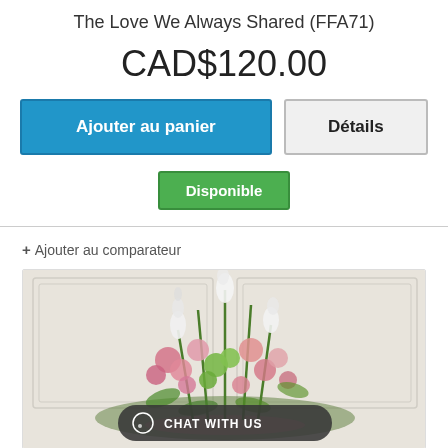The Love We Always Shared (FFA71)
CAD$120.00
Ajouter au panier
Détails
Disponible
+ Ajouter au comparateur
[Figure (photo): Floral arrangement with pink, white, and green flowers including gladioli and carnations, with a 'CHAT WITH US' overlay button at the bottom.]